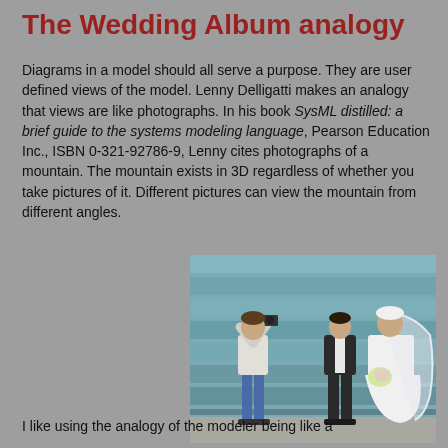The Wedding Album analogy
Diagrams in a model should all serve a purpose. They are user defined views of the model. Lenny Delligatti makes an analogy that views are like photographs. In his book SysML distilled: a brief guide to the systems modeling language, Pearson Education Inc., ISBN 0-321-92786-9, Lenny cites photographs of a mountain. The mountain exists in 3D regardless of whether you take pictures of it. Different pictures can view the mountain from different angles.
[Figure (photo): A wedding photographer taking photos of a bride and groom standing in front of a glass building exterior]
I like using the analogy of the modeler being like a